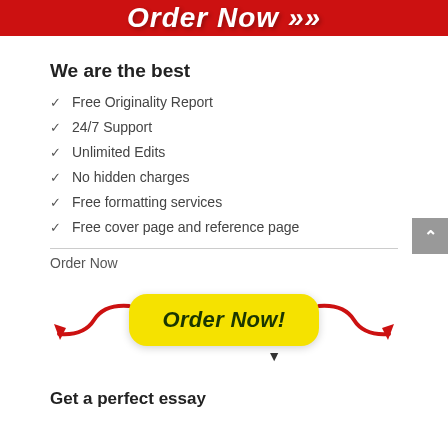[Figure (screenshot): Red banner at top with white bold italic text 'Order Now >>' partially cropped]
We are the best
Free Originality Report
24/7 Support
Unlimited Edits
No hidden charges
Free formatting services
Free cover page and reference page
Order Now
[Figure (illustration): Yellow 'Order Now!' button with red arrows pointing inward from both sides, and a cursor icon below the button]
Get a perfect essay